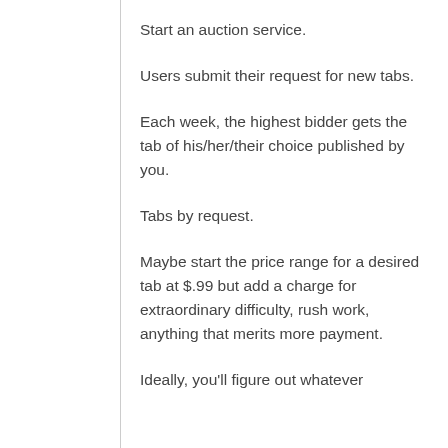Start an auction service.
Users submit their request for new tabs.
Each week, the highest bidder gets the tab of his/her/their choice published by you.
Tabs by request.
Maybe start the price range for a desired tab at $.99 but add a charge for extraordinary difficulty, rush work, anything that merits more payment.
Ideally, you'll figure out whatever